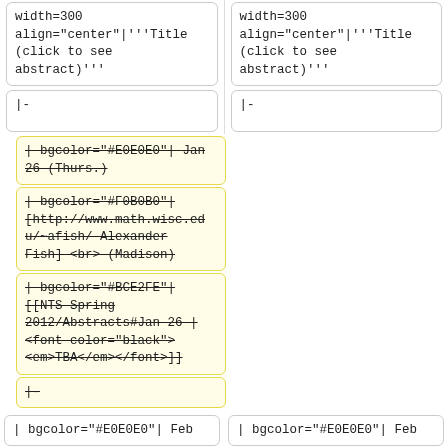width=300 align="center"|'''Title (click to see abstract)'''
width=300 align="center"|'''Title (click to see abstract)'''
|-
|-
| bgcolor="#E0E0E0"| Jan 26 (Thurs.)
| bgcolor="#F0B0B0"| [http://www.math.wisc.edu/~afish/ Alexander Fish] <br> (Madison)
| bgcolor="#BCE2FE"| [[NTS Spring 2012/Abstracts#Jan 26 | <font color="black"><em>TBA</em></font>]]
|-
| bgcolor="#E0E0E0"| Feb
| bgcolor="#E0E0E0"| Feb